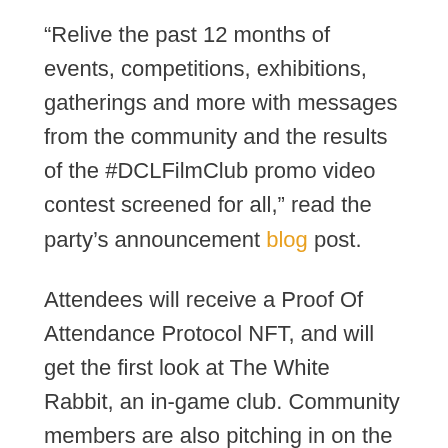“Relive the past 12 months of events, competitions, exhibitions, gatherings and more with messages from the community and the results of the #DCLFilmClub promo video contest screened for all,” read the party’s announcement blog post.
Attendees will receive a Proof Of Attendance Protocol NFT, and will get the first look at The White Rabbit, an in-game club. Community members are also pitching in on the effort, with one land rental service offering legendary item giveaway to celebrate.
DJ and crypto aficionado RAC posted on Twitter that he had been for a since “this.” Poste...